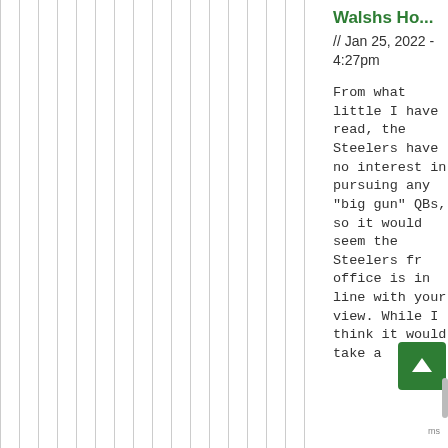Walshs Ho...
// Jan 25, 2022 - 4:27pm
From what little I have read, the Steelers have no interest in pursuing any "big gun" QBs, so it would seem the Steelers front office is in line with your view.  While I think it would take a